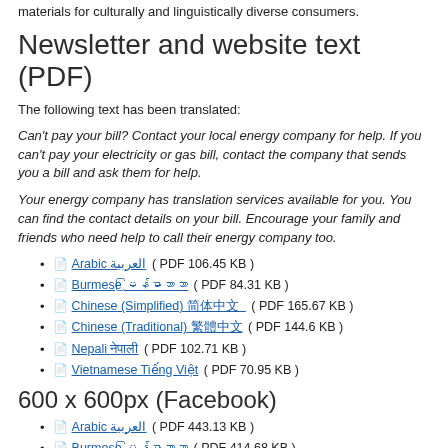materials for culturally and linguistically diverse consumers.
Newsletter and website text (PDF)
The following text has been translated:
Can't pay your bill? Contact your local energy company for help. If you can't pay your electricity or gas bill, contact the company that sends you a bill and ask them for help.
Your energy company has translation services available for you. You can find the contact details on your bill. Encourage your family and friends who need help to call their energy company too.
Arabic العربية ( PDF 106.45 KB )
Burmese မြန်မာဘာသာ ( PDF 84.31 KB )
Chinese (Simplified) 简体中文 ( PDF 165.67 KB )
Chinese (Traditional) 繁體中文 ( PDF 144.6 KB )
Nepali नेपाली ( PDF 102.71 KB )
Vietnamese Tiếng Việt ( PDF 70.95 KB )
600 x 600px (Facebook)
Arabic العربية ( PDF 443.13 KB )
Burmese မြန်မာဘာသာ ( PDF 414.68 KB )